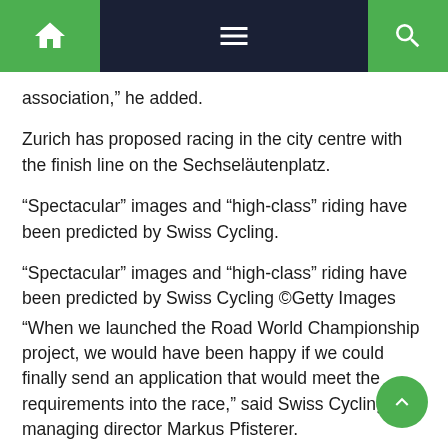Navigation bar with home, menu, and search icons
association,” he added.
Zurich has proposed racing in the city centre with the finish line on the Sechseläutenplatz.
“Spectacular” images and “high-class” riding have been predicted by Swiss Cycling.
“Spectacular” images and “high-class” riding have been predicted by Swiss Cycling ©Getty Images
“When we launched the Road World Championship project, we would have been happy if we could finally send an application that would meet the requirements into the race,” said Swiss Cycling managing director Markus Pfisterer.
“Now our Board has been spoiled for choice, between two equally ambitious and committed candidates with first-class